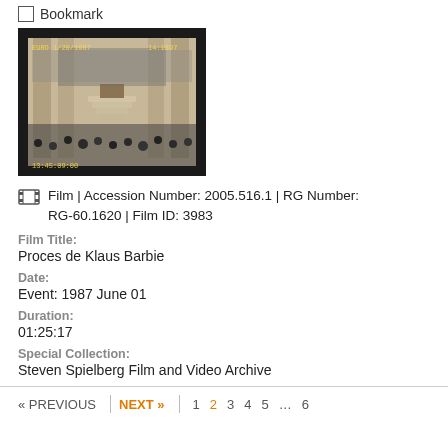Bookmark
[Figure (photo): Video still from a courtroom/parliamentary hall showing many people seated, with timestamp overlay reading approximately 1987-06-01 and timecode 13:45:09]
Film | Accession Number: 2005.516.1 | RG Number: RG-60.1620 | Film ID: 3983
Film Title:
Proces de Klaus Barbie
Date:
Event: 1987 June 01
Duration:
01:25:17
Special Collection:
Steven Spielberg Film and Video Archive
« PREVIOUS | NEXT » | 1  2  3  4  5  …  6